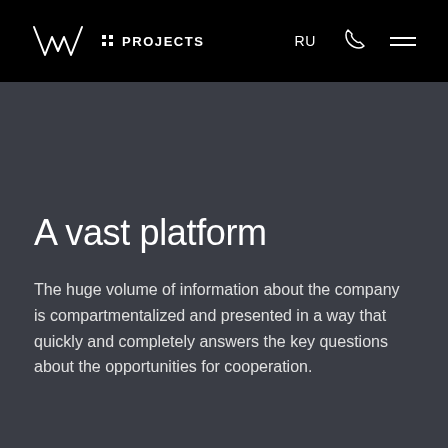PROJECTS  RU
A vast platform
The huge volume of information about the company is compartmentalized and presented in a way that quickly and completely answers the key questions about the opportunities for cooperation.